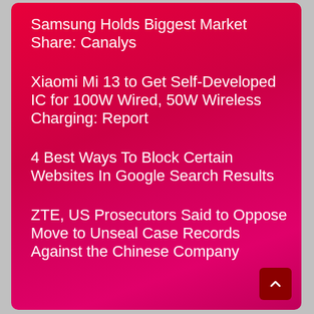Samsung Holds Biggest Market Share: Canalys
Xiaomi Mi 13 to Get Self-Developed IC for 100W Wired, 50W Wireless Charging: Report
4 Best Ways To Block Certain Websites In Google Search Results
ZTE, US Prosecutors Said to Oppose Move to Unseal Case Records Against the Chinese Company